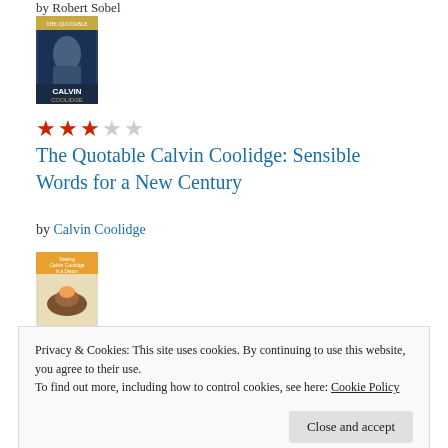by Robert Sobel
[Figure (photo): Book cover: The Quotable Calvin Coolidge]
[Figure (other): 3 out of 5 stars rating]
The Quotable Calvin Coolidge: Sensible Words for a New Century
by Calvin Coolidge
[Figure (photo): Book cover: Seeing Calvin Coolidge in a Dream]
[Figure (other): 5 out of 5 stars rating (partially visible)]
Privacy & Cookies: This site uses cookies. By continuing to use this website, you agree to their use.
To find out more, including how to control cookies, see here: Cookie Policy
Close and accept